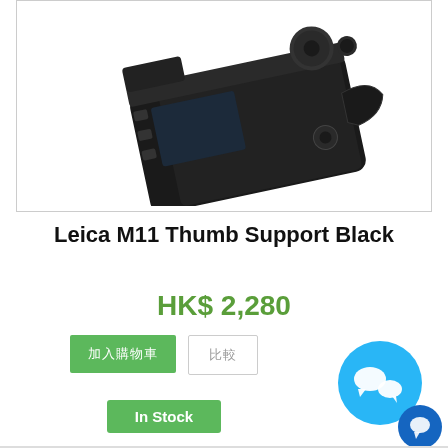[Figure (photo): Product photo of Leica M11 camera with Thumb Support Black accessory attached, shown at an angle, black body on white background]
Leica M11 Thumb Support Black
HK$ 2,280
加入購物車  比較  In Stock